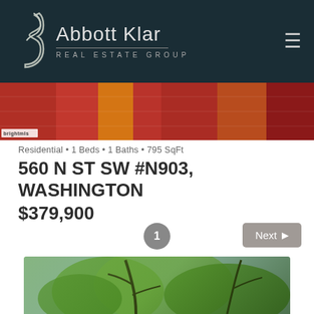[Figure (logo): Abbott Klar Real Estate Group logo on dark teal background with stylized figure]
[Figure (photo): Colorful textile/fabric banner image with brightmls watermark]
Residential • 1 Beds • 1 Baths • 795 SqFt
560 N ST SW #N903, WASHINGTON
$379,900
[Figure (screenshot): Pagination showing page 1 and Next button]
[Figure (photo): Exterior photo showing tree with green foliage and sky]